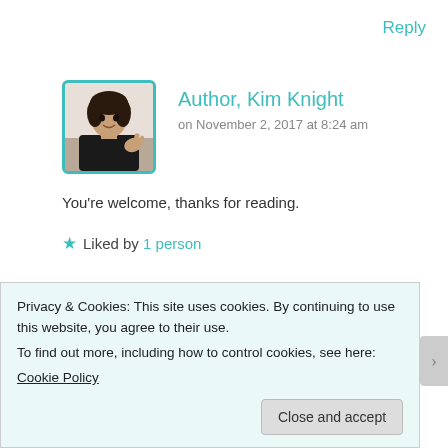Reply
[Figure (photo): Avatar photo of Author Kim Knight, a woman in a black top waving, with teal border]
Author, Kim Knight
on November 2, 2017 at 8:24 am
You're welcome, thanks for reading.
★ Liked by 1 person
Reply
Leave a Reply to Author, Kim Knight Cancel
Privacy & Cookies: This site uses cookies. By continuing to use this website, you agree to their use.
To find out more, including how to control cookies, see here:
Cookie Policy
Close and accept